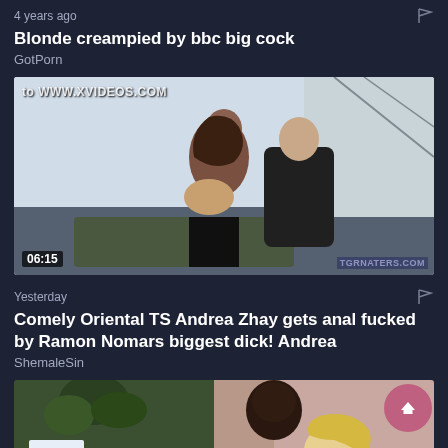4 years ago
Blonde creampied by bbc big cock
GotPorn
[Figure (photo): Video thumbnail showing adult content with duration badge 06:15 and watermark text 'to WWW.XVIDEOS.COM']
Yesterday
Comely Oriental TS Andrea Zhay gets anal fucked by Ramon Nomars biggest dick! Andrea
ShemaleSin
[Figure (photo): Partial video thumbnail showing adult content]